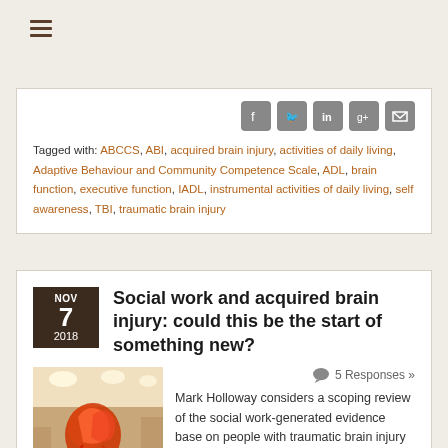☰ (hamburger menu icon)
Tagged with: ABCCS, ABI, acquired brain injury, activities of daily living, Adaptive Behaviour and Community Competence Scale, ADL, brain function, executive function, IADL, instrumental activities of daily living, self awareness, TBI, traumatic brain injury
Social work and acquired brain injury: could this be the start of something new?
NOV 7 2018
[Figure (photo): Photo of a brain anatomy model or artwork displayed in a clinical or gallery setting, with colorful red and orange brain structures visible against a bright interior background.]
5 Responses »
Mark Holloway considers a scoping review of the social work-generated evidence base on people with traumatic brain injury (TBI) of working age.
[read the full story...]
Share this post: